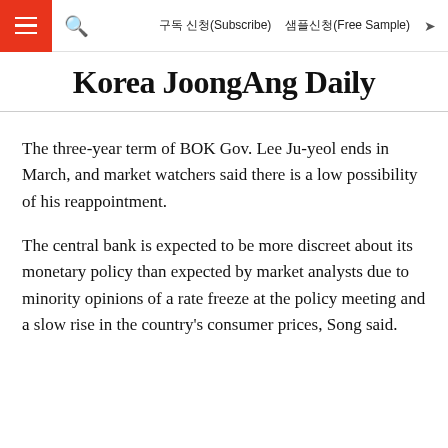≡  🔍  구독 신청(Subscribe)  샘플신청(Free Sample)  ➤
Korea JoongAng Daily
The three-year term of BOK Gov. Lee Ju-yeol ends in March, and market watchers said there is a low possibility of his reappointment.
The central bank is expected to be more discreet about its monetary policy than expected by market analysts due to minority opinions of a rate freeze at the policy meeting and a slow rise in the country's consumer prices, Song said.